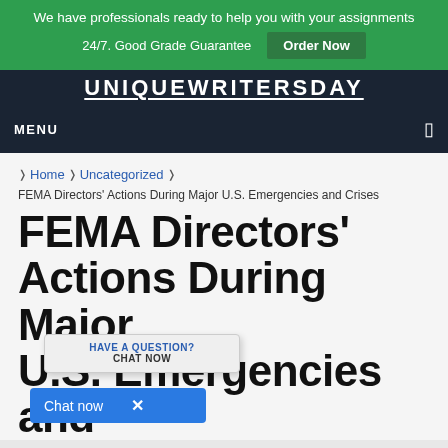We have professionals ready to help you with your assignments 24/7. Good Grade Guarantee Order Now
UNIQUEWRITERSDAY
MENU
❭ Home ❭ Uncategorized ❭
FEMA Directors' Actions During Major U.S. Emergencies and Crises
FEMA Directors' Actions During Major U.S. Emergencies and